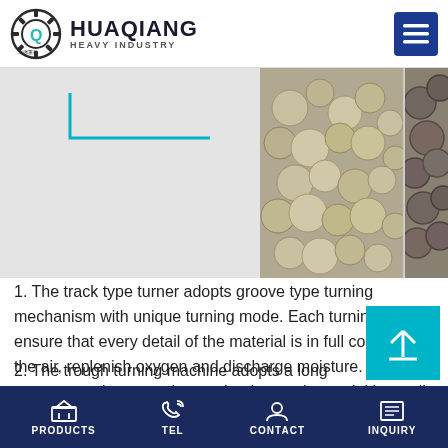HUAQIANG HEAVY INDUSTRY
[Figure (photo): Two photographs of granulated pellets/balls of fertilizer material; one showing lighter colored rough pellets and another showing darker smoother balls.]
1. The track type turner adopts groove type turning mechanism with unique turning mode. Each turning can ensure that every detail of the material is in full contact with the air, replenish oxygen and discharge moisture. The contact part between the mechanism and material is small, and the maintenance is convenient. The compost is suitable for granulation of fertilizer granulator.
2. The trough turning machine adopts a long span
PRODUCTS   TEL   CONTACT   INQUIRY